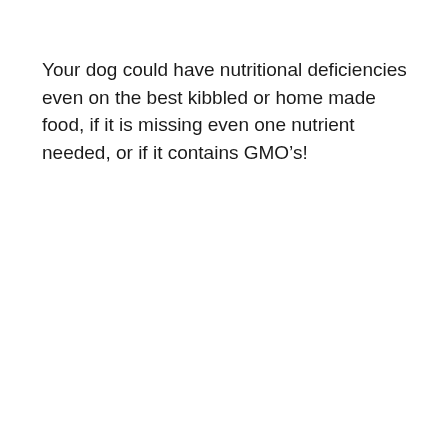Your dog could have nutritional deficiencies even on the best kibbled or home made food, if it is missing even one nutrient needed, or if it contains GMO’s!